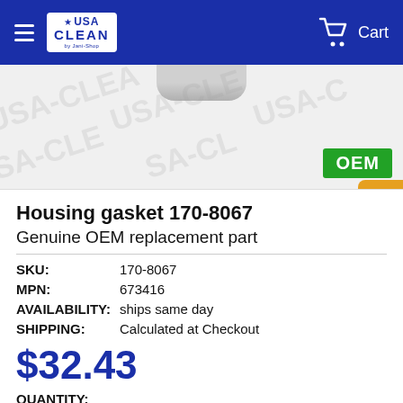USA CLEAN by Jani-Shop — Cart
[Figure (photo): Product image area with USA-CLEAN watermarks and partial view of a metal housing gasket at top. Green OEM badge in bottom right.]
Housing gasket 170-8067
Genuine OEM replacement part
SKU: 170-8067
MPN: 673416
AVAILABILITY: ships same day
SHIPPING: Calculated at Checkout
$32.43
QUANTITY: